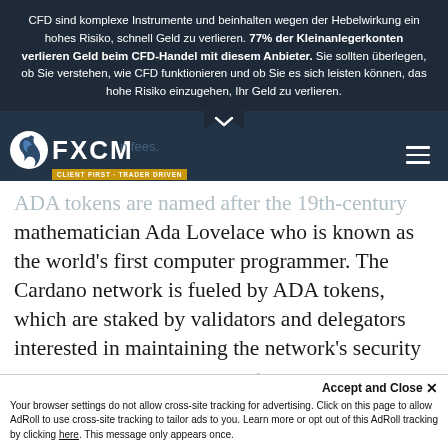CFD sind komplexe Instrumente und beinhalten wegen der Hebelwirkung ein hohes Risiko, schnell Geld zu verlieren. 77% der Kleinanlegerkonten verlieren Geld beim CFD-Handel mit diesem Anbieter. Sie sollten überlegen, ob Sie verstehen, wie CFD funktionieren und ob Sie es sich leisten können, das hohe Risiko einzugehen, Ihr Geld zu verlieren.
[Figure (logo): FXCM logo with tagline CLIENT FIRST · TRADER DRIVEN on dark navy navigation bar]
ADA tokens are named after the 19th-century mathematician Ada Lovelace who is known as the world's first computer programmer. The Cardano network is fueled by ADA tokens, which are staked by validators and delegators interested in maintaining the network's security
and scalability in exchange for rewards
Accept and Close ×
Your browser settings do not allow cross-site tracking for advertising. Click on this page to allow AdRoll to use cross-site tracking to tailor ads to you. Learn more or opt out of this AdRoll tracking by clicking here. This message only appears once.